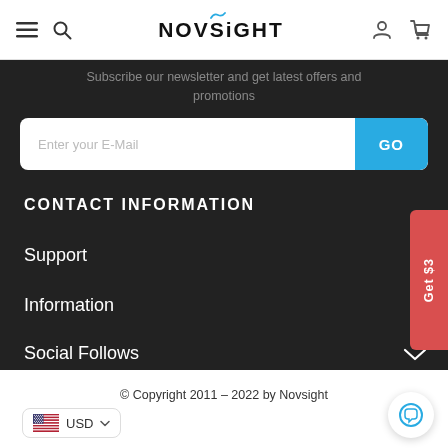NOVSiGHT — navigation header with hamburger, search, logo, user and cart icons
Subscribe our newsletter and get latest offers and promotions
Enter your E-Mail  GO
CONTACT INFORMATION
Support
Information
Social Follows
Get $3
© Copyright 2011 – 2022 by Novsight
USD ▼